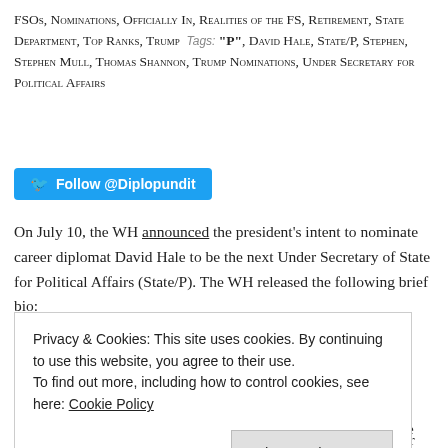FSOs, Nominations, Officially In, Realities of the FS, Retirement, State Department, Top Ranks, Trump  Tags: "P", David Hale, State/P, Stephen, Stephen Mull, Thomas Shannon, Trump Nominations, Under Secretary for Political Affairs
Follow @Diplopundit
On July 10, the WH announced the president's intent to nominate career diplomat David Hale to be the next Under Secretary of State for Political Affairs (State/P). The WH released the following brief bio:
Ambassador David Hale, a career member of the Senior Foreign Service, Class of Career-Minister, is the Ambassador to the Islamic Republic of Pakistan, a position he has held since 2015.  He previously served as the United States Ambassador to the Republic
Privacy & Cookies: This site uses cookies. By continuing to use this website, you agree to their use.
To find out more, including how to control cookies, see here: Cookie Policy
Close and accept
to 2009.  From 2001 to 2003, Ambassador Hale was Director for